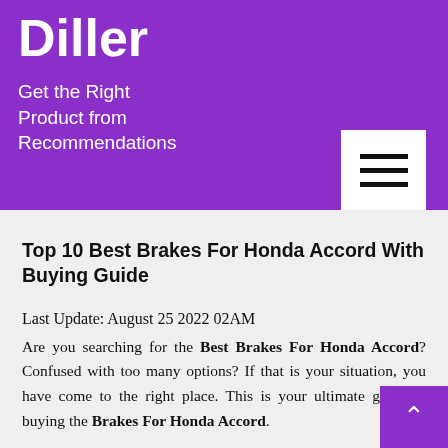Diller
Get the Right Product from Recommendations
Top 10 Best Brakes For Honda Accord With Buying Guide
Last Update: August 25 2022 02AM
Are you searching for the Best Brakes For Honda Accord? Confused with too many options? If that is your situation, you have come to the right place. This is your ultimate guide to buying the Brakes For Honda Accord.
We understand how much of a hassle it can be to go